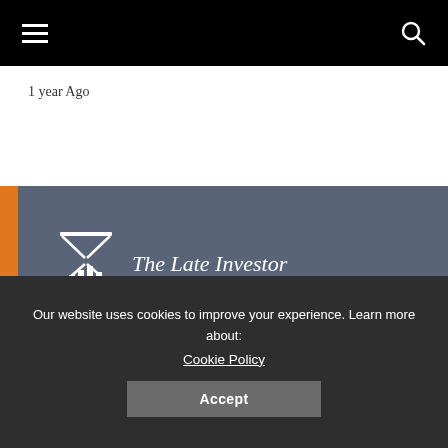The Late Investor — navigation bar with hamburger menu and search icon
1 year Ago
[Figure (logo): The Late Investor logo: hourglass icon with bar chart base, followed by italic serif text 'The Late Investor']
[Figure (other): Social media icons row: Facebook, Twitter, LinkedIn, Instagram]
Our website uses cookies to improve your experience. Learn more about: Cookie Policy
Accept